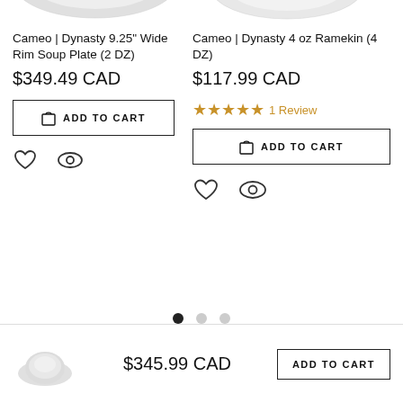[Figure (photo): Partial top view of a white soup plate/dish — bottom portion of product image]
Cameo | Dynasty 9.25" Wide Rim Soup Plate (2 DZ)
$349.49 CAD
ADD TO CART
[Figure (photo): Partial top view of a white ramekin — bottom portion of product image]
Cameo | Dynasty 4 oz Ramekin (4 DZ)
$117.99 CAD
★★★★★ 1 Review
ADD TO CART
[Figure (photo): Small thumbnail of a white dome-shaped dish/ramekin at bottom bar]
$345.99 CAD
ADD TO CART